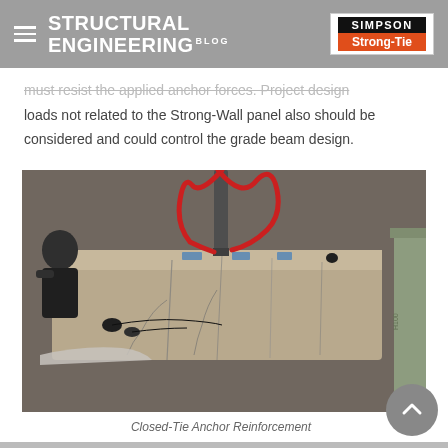STRUCTURAL ENGINEERING BLOG — Simpson Strong-Tie
must resist the applied anchor forces. Project design loads not related to the Strong-Wall panel also should be considered and could control the grade beam design.
[Figure (photo): Laboratory photo showing a person examining a cracked concrete grade beam specimen on a test apparatus. A vertical loading rod is positioned above the beam with red lifting straps. Black instrumentation sensors are attached to the beam surface. The concrete shows visible cracking patterns. A steel I-beam is visible at the right side.]
Closed-Tie Anchor Reinforcement